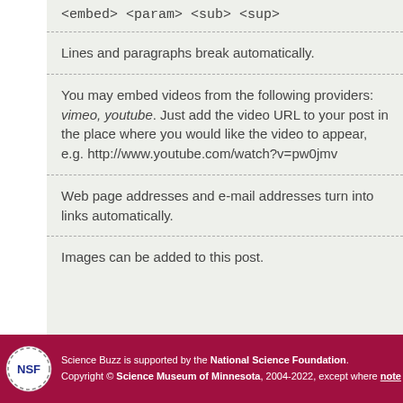<embed> <param> <sub> <sup>
Lines and paragraphs break automatically.
You may embed videos from the following providers: vimeo, youtube. Just add the video URL to your post in the place where you would like the video to appear, e.g. http://www.youtube.com/watch?v=pw0jmv
Web page addresses and e-mail addresses turn into links automatically.
Images can be added to this post.
Science Buzz is supported by the National Science Foundation. Copyright © Science Museum of Minnesota, 2004-2022, except where noted.